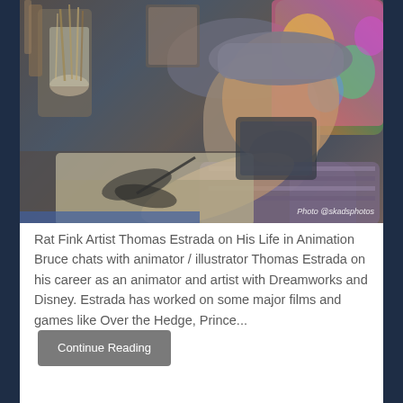[Figure (photo): Photograph of animator and illustrator Thomas Estrada seated at a desk drawing, wearing a grey tweed hat and striped shirt, surrounded by paintbrushes and colorful artwork. Photo credit: @skadsphotos]
Rat Fink Artist Thomas Estrada on His Life in Animation Bruce chats with animator / illustrator Thomas Estrada on his career as an animator and artist with Dreamworks and Disney. Estrada has worked on some major films and games like Over the Hedge, Prince... Continue Reading